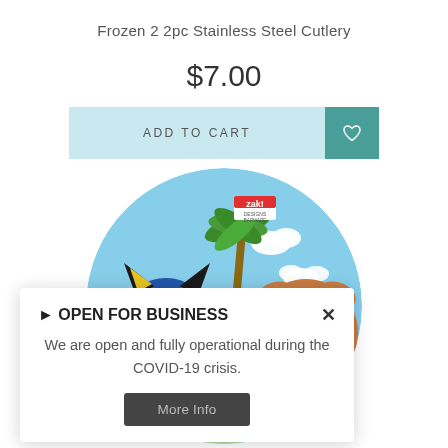Frozen 2 2pc Stainless Steel Cutlery
$7.00
[Figure (screenshot): ADD TO CART button (light blue) with a teal heart/wishlist icon button on the right]
[Figure (photo): Circular product image showing Bluey animated characters (Bluey and Bingo) on a blue sky background with clouds, with a 'zak!' logo sticker in the upper area]
▶ OPEN FOR BUSINESS
We are open and fully operational during the COVID-19 crisis.
More Info